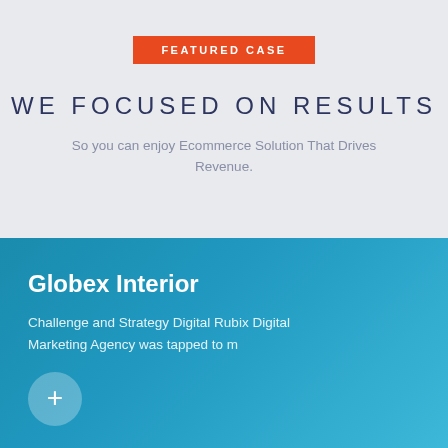FEATURED CASE
WE FOCUSED ON RESULTS
So you can enjoy Ecommerce Solution That Drives Revenue.
Globex Interior
Challenge and Strategy Digital Rubix Digital Marketing Agency was tapped to m
[Figure (other): Plus / add button circle icon]